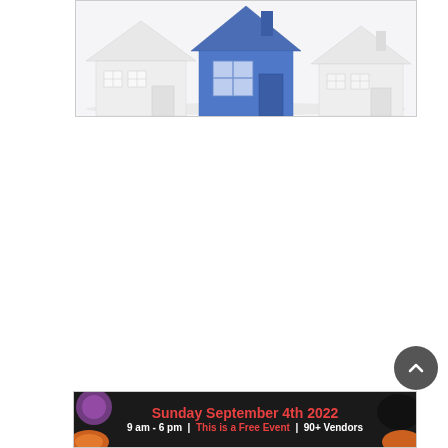[Figure (illustration): 3D rendered image of several white house models with one blue house in the center, set against a white background. The blue house stands out among the identical white houses.]
[Figure (infographic): Banner advertisement for an event on Sunday September 4th 2022, 9 am - 6 pm, This is a Free Event, 90+ Vendors. Dark background with food imagery on the sides, red and white text.]